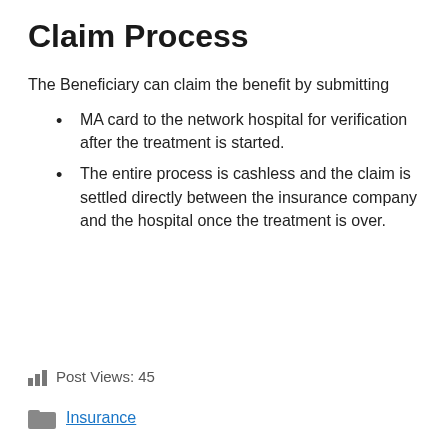Claim Process
The Beneficiary can claim the benefit by submitting
MA card to the network hospital for verification after the treatment is started.
The entire process is cashless and the claim is settled directly between the insurance company and the hospital once the treatment is over.
Post Views: 45
Insurance